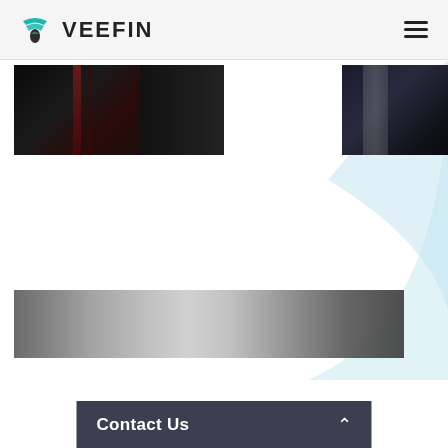VEEFIN
[Figure (photo): Dark photo of person in formal attire, top left]
[Figure (photo): Dark photo of person in formal attire, top right with light-blue decorative arc background]
[Figure (photo): Wide bottom photo showing blurred hands or surface in grayscale]
Contact Us